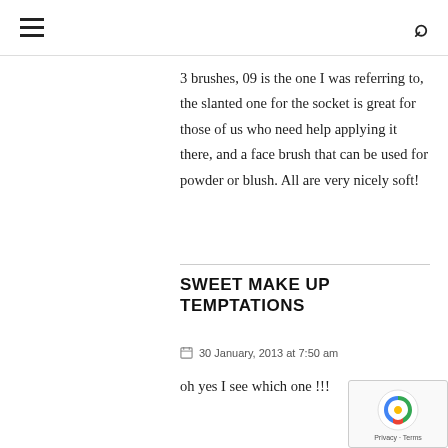≡ 🔍
3 brushes, 09 is the one I was referring to, the slanted one for the socket is great for those of us who need help applying it there, and a face brush that can be used for powder or blush. All are very nicely soft!
SWEET MAKE UP TEMPTATIONS
30 January, 2013 at 7:50 am
oh yes I see which one !!!